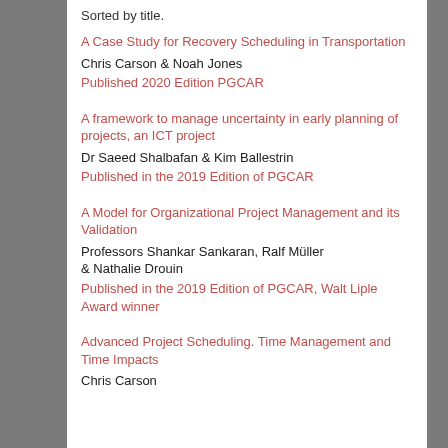Sorted by title.
A Case Study for Recovery Scheduling in Transportation
Chris Carson & Noah Jones
Published 2020 Edition PGCAR
A framework to manage uncertainty in early planning of projects, an ICT project
Dr Saeed Shalbafan & Kim Ballestrin
Published in the 2019 Edition of PGCAR
A Model for Organizational Project Management and its Validation
Professors Shankar Sankaran, Ralf Müller & Nathalie Drouin
Published in the 2019 Edition of PGCAR, Walt Liple Award winner
Advanced Project Scheduling. Time Management and Time Impacts
Chris Carson